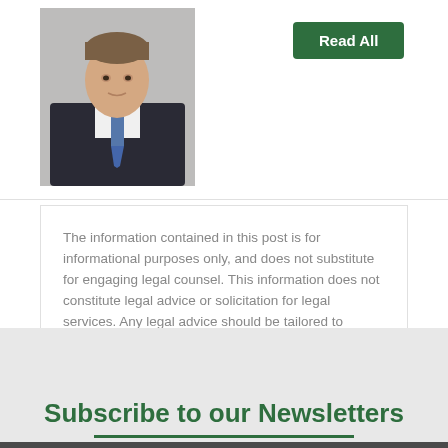[Figure (photo): Professional headshot of a man in a dark suit with a tie]
Read All
The information contained in this post is for informational purposes only, and does not substitute for engaging legal counsel. This information does not constitute legal advice or solicitation for legal services. Any legal advice should be tailored to specific clients and the client's specific needs. No attorney-client relationship is created by use of this post or website.
Subscribe to our Newsletters